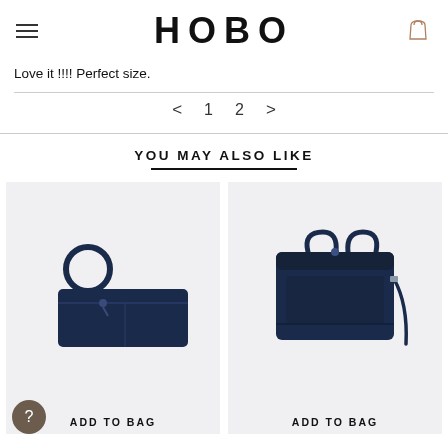HOBO
Love it !!!! Perfect size.
< 1 2 >
YOU MAY ALSO LIKE
[Figure (photo): Navy blue leather wristlet clutch bag with ring handle]
ADD TO BAG
[Figure (photo): Navy blue leather tote bag with top handles and crossbody strap]
ADD TO BAG